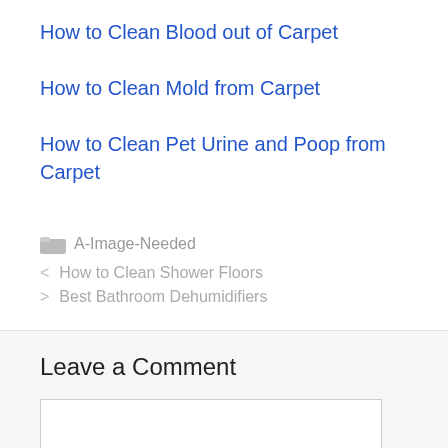How to Clean Blood out of Carpet
How to Clean Mold from Carpet
How to Clean Pet Urine and Poop from Carpet
A-Image-Needed
< How to Clean Shower Floors
> Best Bathroom Dehumidifiers
Leave a Comment